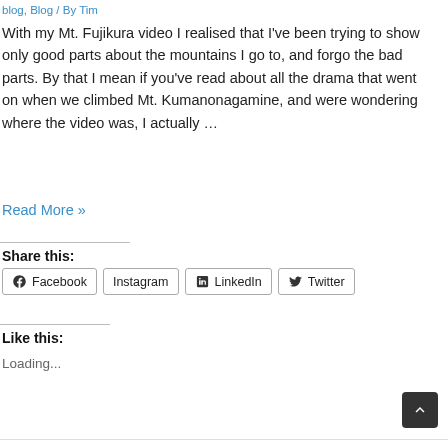blog, Blog / By Tim
With my Mt. Fujikura video I realised that I've been trying to show only good parts about the mountains I go to, and forgo the bad parts. By that I mean if you've read about all the drama that went on when we climbed Mt. Kumanonagamine, and were wondering where the video was, I actually …
Read More »
Share this:
Facebook Instagram LinkedIn Twitter
Like this:
Loading...